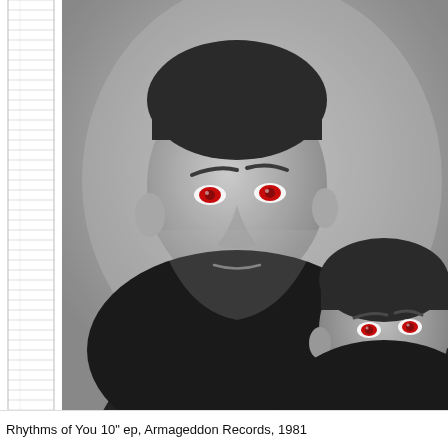[Figure (photo): Black and white photograph of two men in dark clothing with red eyes (edited), positioned side by side. The man on the left is taller and in the foreground, the man on the right is slightly behind. Both have a serious expression. A ruled notebook grid is visible along the left margin.]
Rhythms of You 10" ep, Armageddon Records, 1981